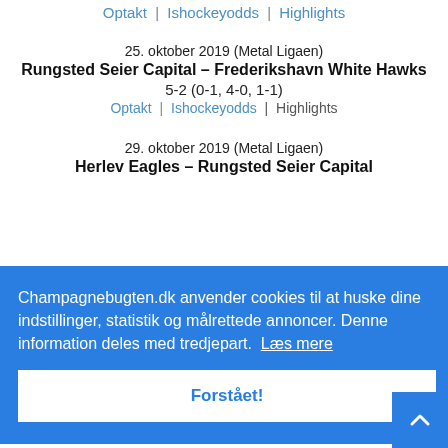Optakt | Ishockeyodds | Highlights
25. oktober 2019 (Metal Ligaen)
Rungsted Seier Capital – Frederikshavn White Hawks
5-2 (0-1, 4-0, 1-1)
Optakt | Ishockeyodds | Highlights
29. oktober 2019 (Metal Ligaen)
Herlev Eagles – Rungsted Seier Capital
Champagnebugten.dk anvender cookies til at huske dine indstillinger, statistik og målrettede annoncer. Denne information deles med tredjepart. Læs mere
Forstået!